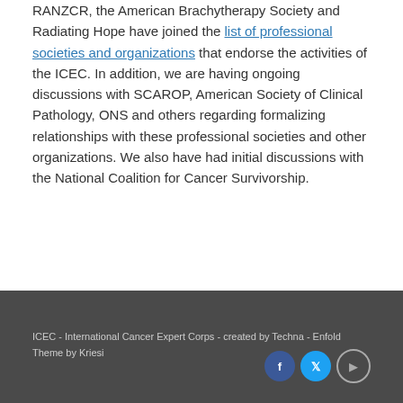RANZCR, the American Brachytherapy Society and Radiating Hope have joined the list of professional societies and organizations that endorse the activities of the ICEC. In addition, we are having ongoing discussions with SCAROP, American Society of Clinical Pathology, ONS and others regarding formalizing relationships with these professional societies and other organizations. We also have had initial discussions with the National Coalition for Cancer Survivorship.
ICEC - International Cancer Expert Corps - created by Techna - Enfold Theme by Kriesi